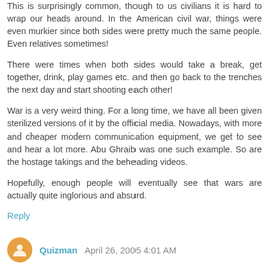This is surprisingly common, though to us civilians it is hard to wrap our heads around. In the American civil war, things were even murkier since both sides were pretty much the same people. Even relatives sometimes!
There were times when both sides would take a break, get together, drink, play games etc. and then go back to the trenches the next day and start shooting each other!
War is a very weird thing. For a long time, we have all been given sterilized versions of it by the official media. Nowadays, with more and cheaper modern communication equipment, we get to see and hear a lot more. Abu Ghraib was one such example. So are the hostage takings and the beheading videos.
Hopefully, enough people will eventually see that wars are actually quite inglorious and absurd.
Reply
Quizman April 26, 2005 4:01 AM